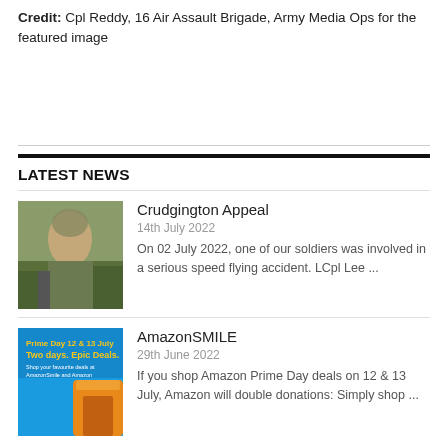Credit: Cpl Reddy, 16 Air Assault Brigade, Army Media Ops for the featured image
LATEST NEWS
[Figure (photo): Soldier in camouflage gear outdoors among trees]
Crudgington Appeal
14th July 2022
On 02 July 2022, one of our soldiers was involved in a serious speed flying accident. LCpl Lee ...
[Figure (photo): AmazonSMILE Prime Day 12 & 13 July promotional banner]
AmazonSMILE
29th June 2022
If you shop Amazon Prime Day deals on 12 & 13 July, Amazon will double donations: Simply shop ...